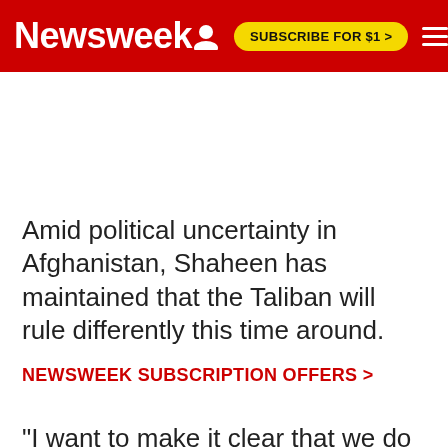Newsweek | SUBSCRIBE FOR $1 >
Amid political uncertainty in Afghanistan, Shaheen has maintained that the Taliban will rule differently this time around.
NEWSWEEK SUBSCRIPTION OFFERS >
"I want to make it clear that we do not believe in the monopoly of power because any